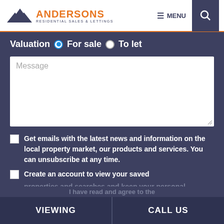[Figure (logo): Andersons Residential Sales & Lettings logo with house roofline icon]
≡ MENU
🔍
Valuation ◉ For sale ○ To let
Message
Get emails with the latest news and information on the local property market, our products and services. You can unsubscribe at any time.
Create an account to view your saved properties and searches and keep your personal
I have read and agree to the
VIEWING
CALL US